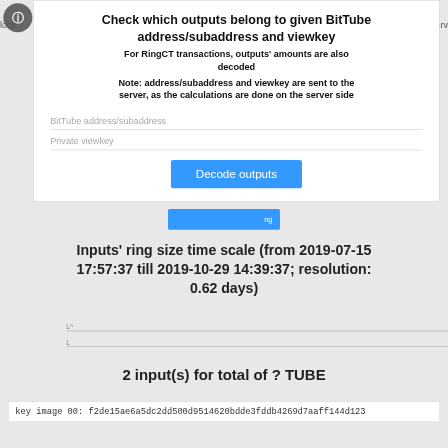Check which outputs belong to given BitTube address/subaddress and viewkey
For RingCT transactions, outputs' amounts are also decoded
Note: address/subaddress and viewkey are sent to the server, as the calculations are done on the server side
BitTube address/subaddress
Private viewkey
Decode outputs
Inputs' ring size time scale (from 2019-07-15 17:57:37 till 2019-10-29 14:39:37; resolution: 0.62 days)
2 input(s) for total of ? TUBE
key image 00: f2de15ae6a5dc2dd500d9514620bdde3fddb4269d7aaff144d123